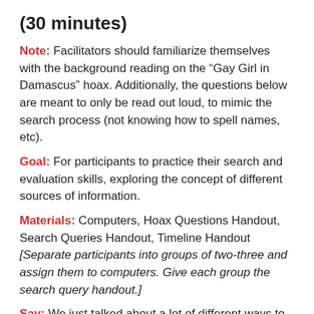(30 minutes)
Note: Facilitators should familiarize themselves with the background reading on the “Gay Girl in Damascus” hoax. Additionally, the questions below are meant to only be read out loud, to mimic the search process (not knowing how to spell names, etc).
Goal: For participants to practice their search and evaluation skills, exploring the concept of different sources of information.
Materials: Computers, Hoax Questions Handout, Search Queries Handout, Timeline Handout [Separate participants into groups of two-three and assign them to computers. Give each group the search query handout.]
Say: We just talked about a lot of different ways to find information, whether online or out in the world. Let’s imagine that on June 10, 2011, your best friend comes up